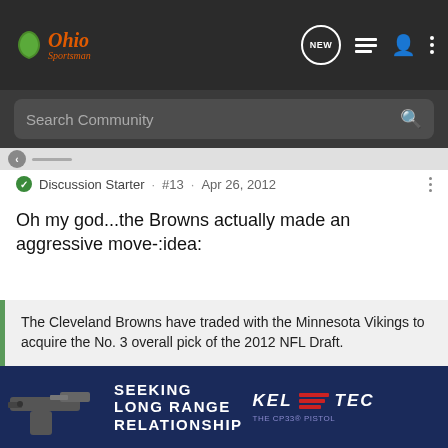Ohio Sportsman - Navigation bar with NEW, list, profile, and menu icons
Search Community
Discussion Starter · #13 · Apr 26, 2012
Oh my god...the Browns actually made an aggressive move-:idea:
The Cleveland Browns have traded with the Minnesota Vikings to acquire the No. 3 overall pick of the 2012 NFL Draft.

Sources say the Browns, who held the fourth overall pick, are targeting running back Trent Richardson. Cleveland was worried the Tampa Bay Buccaneers would try and engineer a deal with the Vikings to snag the former Alabama star.

Click to expand
[Figure (advertisement): Kel-Tec CP33 pistol advertisement reading SEEKING LONG RANGE RELATIONSHIP with gun image on dark blue background]